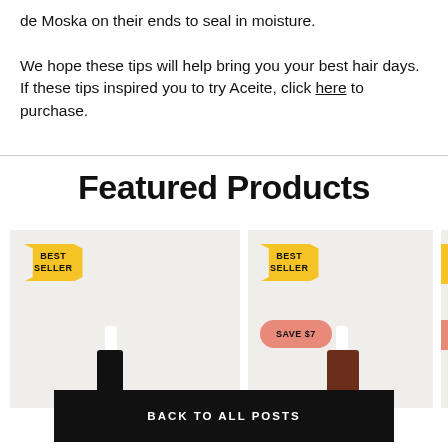de Moska on their ends to seal in moisture.

We hope these tips will help bring you your best hair days. If these tips inspired you to try Aceite, click here to purchase.
Featured Products
[Figure (photo): Two product cards with 'BEST SELLER' yellow ticket badges and one with an additional 'SAVE $7' peach/coral badge, showing hair oil bottles on a light beige background. A third card is partially visible on the right.]
BACK TO ALL POSTS